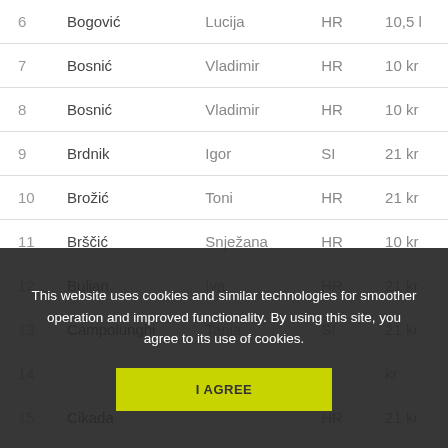| # | Last Name | First Name | Country | Amount |
| --- | --- | --- | --- | --- |
| 6 | Bogović | Lucija | HR | 10,5 l |
| 7 | Bosnić | Vladimir | HR | 10 kr |
| 8 | Bosnić | Vladimir | HR | 10 kr |
| 9 | Brdnik | Igor | SI | 21 kr |
| 10 | Brožić | Toni | HR | 21 kr |
| 11 | Brščić | Snježana | HR | 10 kr |
| 12 | Buljan | Iva | HR | 21 kr |
| 13 | Campolunghi | Tanja | SI | 21 kr |
| 14 | (partially hidden) |  |  | kr |
| 15 | Cikada |  | HR | 21 kr |
| 16 | Cikada |  | HR | 21 kr |
| 17 | Čičar... | Mis... |  |  |
This website uses cookies and similar technologies for smoother operation and improved functionality. By using this site, you agree to its use of cookies.